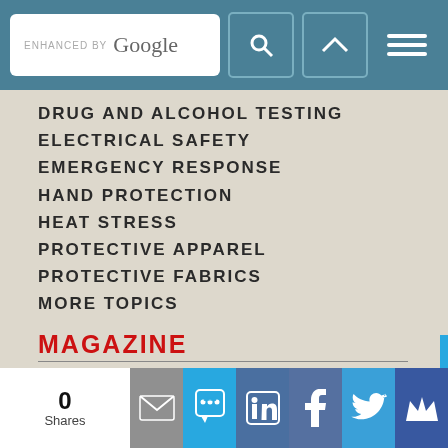ENHANCED BY Google [search bar with icons]
DRUG AND ALCOHOL TESTING
ELECTRICAL SAFETY
EMERGENCY RESPONSE
HAND PROTECTION
HEAT STRESS
PROTECTIVE APPAREL
PROTECTIVE FABRICS
MORE TOPICS
MAGAZINE
DIGITAL EDITION
NEWSLETTERS
FREE SUBSCRIPTION
ISSUE ARCHIVE
0 Shares [social share bar: email, SMS, LinkedIn, Facebook, Twitter, Crown]